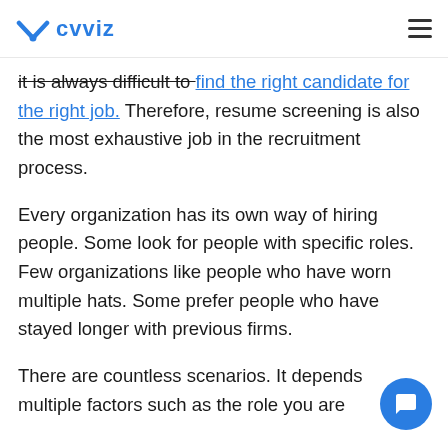cvviz
It is always difficult to find the right candidate for the right job. Therefore, resume screening is also the most exhaustive job in the recruitment process.
Every organization has its own way of hiring people. Some look for people with specific roles. Few organizations like people who have worn multiple hats. Some prefer people who have stayed longer with previous firms.
There are countless scenarios. It depends multiple factors such as the role you are